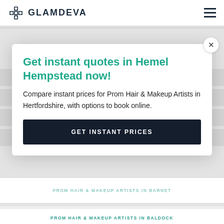GLAMDEVA
PROM HAIR & MAKEUP ARTISTS IN BUSHEY
Get instant quotes in Hemel Hempstead now!
Compare instant prices for Prom Hair & Makeup Artists in Hertfordshire, with options to book online.
GET INSTANT PRICES
PROM HAIR & MAKEUP ARTISTS IN BARNET
PROM HAIR & MAKEUP ARTISTS IN BALDOCK